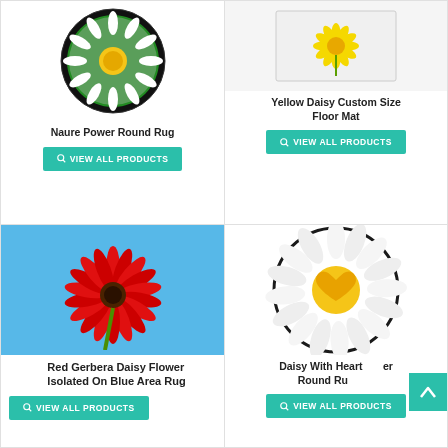[Figure (photo): Round rug with white daisy flowers on black circle border]
Naure Power Round Rug
VIEW ALL PRODUCTS
[Figure (photo): Yellow daisy flower on white rectangular mat]
Yellow Daisy Custom Size Floor Mat
VIEW ALL PRODUCTS
[Figure (photo): Red gerbera daisy flower isolated on blue area rug]
Red Gerbera Daisy Flower Isolated On Blue Area Rug
VIEW ALL PRODUCTS
[Figure (photo): White daisy with heart-shaped yellow center on round rug]
Daisy With Heart Round Rug
VIEW ALL PRODUCTS